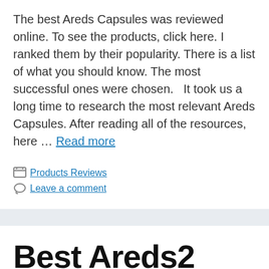The best Areds Capsules was reviewed online. To see the products, click here. I ranked them by their popularity. There is a list of what you should know. The most successful ones were chosen.  It took us a long time to research the most relevant Areds Capsules. After reading all of the resources, here … Read more
Products Reviews
Leave a comment
Best Areds2 Formula in USA